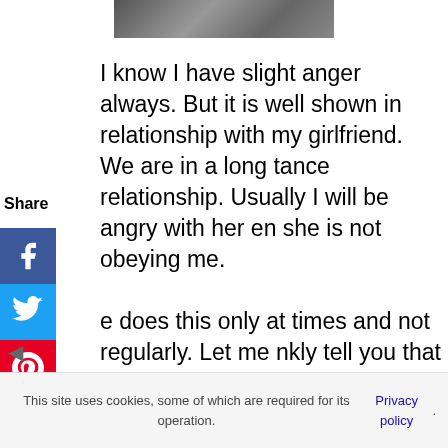[Figure (photo): Partial photo strip at the top of the page, grayscale/dark tones]
I know I have slight anger always. But it is well shown in relationship with my girlfriend. We are in a long tance relationship. Usually I will be angry with her en she is not obeying me. e does this only at times and not regularly. Let me nkly tell you that I am a little possessive about her. So en she talks more often with boys I will feel irritated. e calls me and says that they had a good time and all. So ve warned her to have only professional relationship h boys. But sometimes I feel that she is having personal relationship with the boys.
This site uses cookies, some of which are required for its operation. Privacy policy